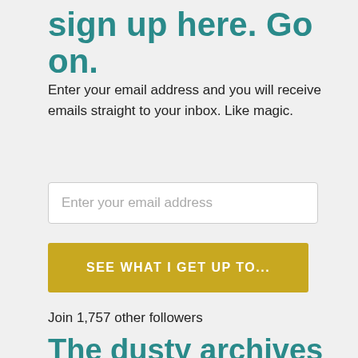sign up here. Go on.
Enter your email address and you will receive emails straight to your inbox. Like magic.
Enter your email address
SEE WHAT I GET UP TO...
Join 1,757 other followers
The dusty archives of